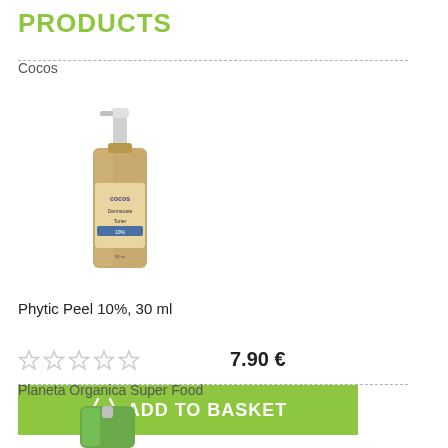PRODUCTS
Cocos
[Figure (photo): Product photo of Cocos Phytic Peel 10% 30ml serum bottle with pump dispenser]
Phytic Peel 10%, 30 ml
7.90 €
ADD TO BASKET
Planeta Organica Super Food
[Figure (photo): Product photo of Planeta Organica Super Food (partially visible)]